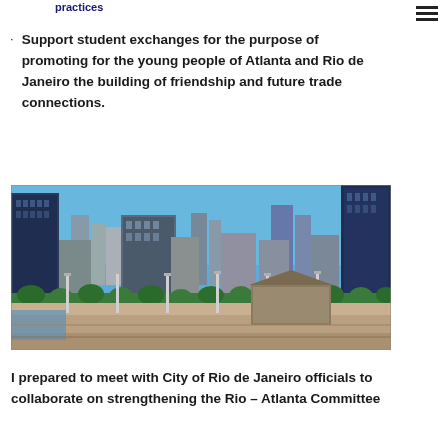practices
Support student exchanges for the purpose of promoting for the young people of Atlanta and Rio de Janeiro the building of friendship and future trade connections.
[Figure (photo): Aerial/elevated cityscape view of Atlanta skyline with tall skyscrapers, trees, and open plaza area in the foreground under a blue sky.]
I prepared to meet with City of Rio de Janeiro officials to collaborate on strengthening the Rio – Atlanta Committee